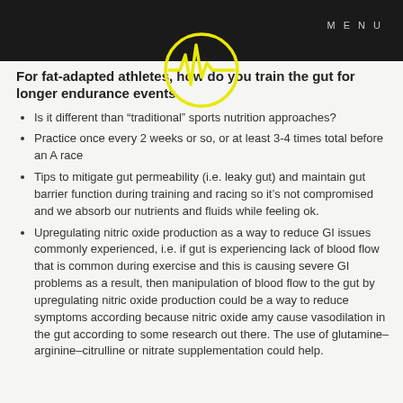MENU
[Figure (logo): Yellow circular logo with heartbeat/pulse line inside, on dark background header]
For fat-adapted athletes, how do you train the gut for longer endurance events
Is it different than “traditional” sports nutrition approaches?
Practice once every 2 weeks or so, or at least 3-4 times total before an A race
Tips to mitigate gut permeability (i.e. leaky gut) and maintain gut barrier function during training and racing so it’s not compromised and we absorb our nutrients and fluids while feeling ok.
Upregulating nitric oxide production as a way to reduce GI issues commonly experienced, i.e. if gut is experiencing lack of blood flow that is common during exercise and this is causing severe GI problems as a result, then manipulation of blood flow to the gut by upregulating nitric oxide production could be a way to reduce symptoms according because nitric oxide amy cause vasodilation in the gut according to some research out there. The use of glutamine–arginine–citrulline or nitrate supplementation could help.